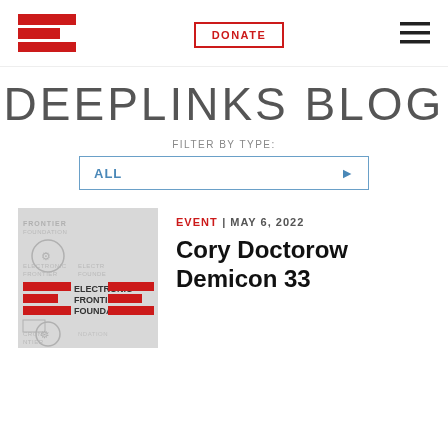[Figure (logo): EFF (Electronic Frontier Foundation) logo with three horizontal red bars of varying width]
DONATE
[Figure (other): Hamburger menu icon with three horizontal bars]
DEEPLINKS BLOG
FILTER BY TYPE:
ALL
[Figure (logo): EFF Electronic Frontier Foundation collage thumbnail image with red EFF logo and gray repeated text pattern]
EVENT | MAY 6, 2022
Cory Doctorow Demicon 33